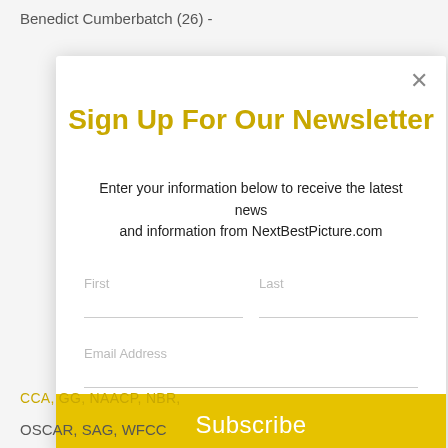Benedict Cumberbatch (26) -
[Figure (screenshot): Newsletter sign-up modal popup with title 'Sign Up For Our Newsletter', subtitle text, First/Last name fields, Email Address field, and a yellow Subscribe button. Close (×) button in top right.]
CCA, GG, NAACP, NBR,
OSCAR, SAG, WFCC